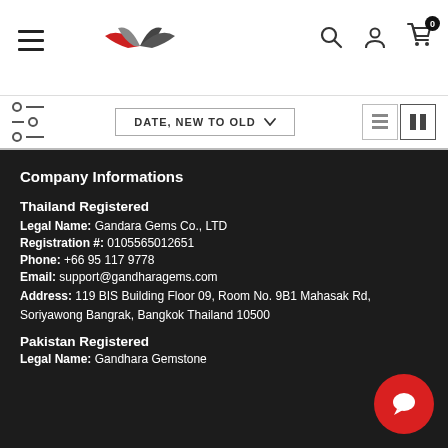Navigation header with hamburger menu, Gandara Gems logo, search, user, and cart icons
DATE, NEW TO OLD (sort dropdown)
Company Informations
Thailand Registered
Legal Name: Gandara Gems Co., LTD
Registration #: 0105565012651
Phone: +66 95 117 9778
Email: support@gandharagems.com
Address: 119 BIS Building Floor 09, Room No. 9B1 Mahasak Rd, Soriyawong Bangrak, Bangkok Thailand 10500
Pakistan Registered
Legal Name: Gandhara Gemstone